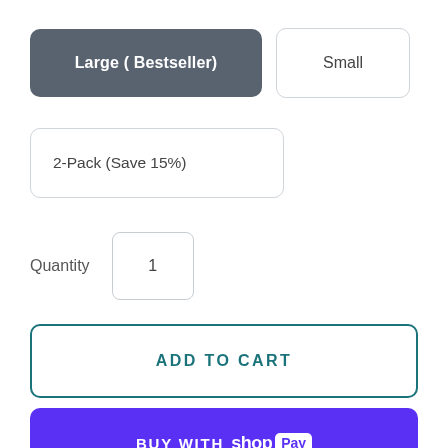Large ( Bestseller)
Small
2-Pack (Save 15%)
Quantity  1
ADD TO CART
[Figure (screenshot): BUY WITH Shop Pay button in purple]
More payment options